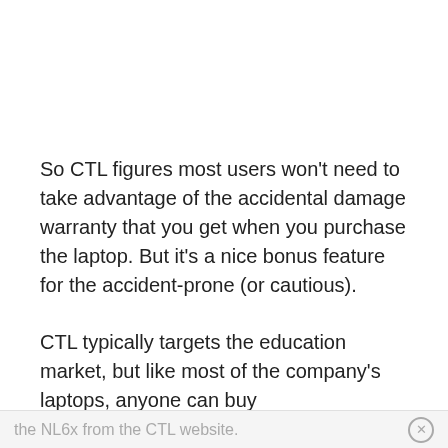So CTL figures most users won't need to take advantage of the accidental damage warranty that you get when you purchase the laptop. But it's a nice bonus feature for the accident-prone (or cautious).
CTL typically targets the education market, but like most of the company's laptops, anyone can buy
the NL6x from the CTL website.